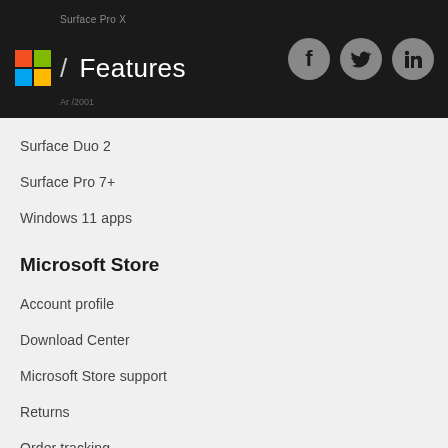Surface Pro X / Features
Surface Duo 2
Surface Pro 7+
Windows 11 apps
Microsoft Store
Account profile
Download Center
Microsoft Store support
Returns
Order tracking
Virtual workshops and training
Microsoft Store Promise